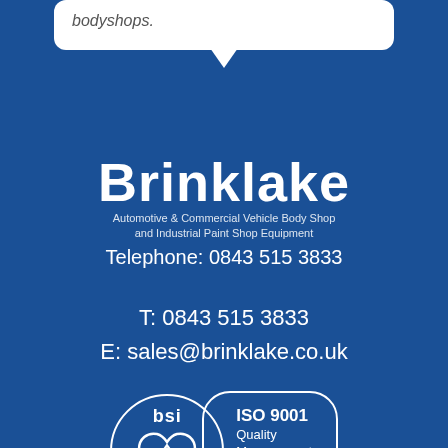bodyshops.
[Figure (logo): Brinklake company logo with text: Automotive & Commercial Vehicle Body Shop and Industrial Paint Shop Equipment, Telephone: 0843 515 3833]
T: 0843 515 3833
E: sales@brinklake.co.uk
[Figure (logo): BSI ISO 9001 Quality Management Systems Certified badge with FS 584101]
FS 584101